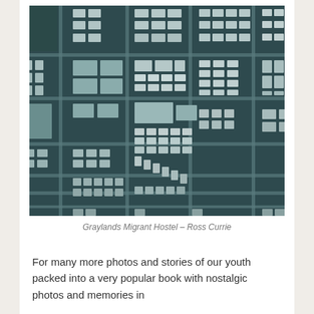[Figure (photo): Aerial black-and-white photograph of Graylands Migrant Hostel showing a dense grid of residential buildings, roads, and open areas viewed from above.]
Graylands Migrant Hostel – Ross Currie
For many more photos and stories of our youth packed into a very popular book with nostalgic photos and memories in